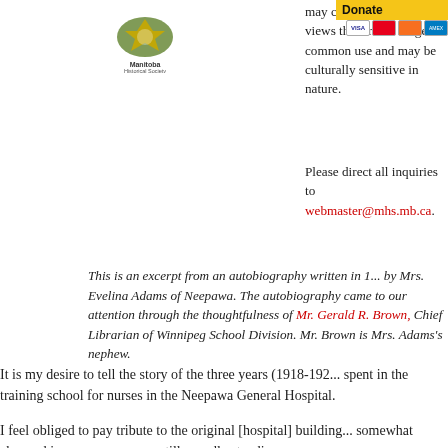[Figure (logo): Manitoba Historical Society logo with crest and text]
may contain language and views that are no longer in common use and may be culturally sensitive in nature.
Please direct all inquiries to webmaster@mhs.mb.ca.
This is an excerpt from an autobiography written in 1... by Mrs. Evelina Adams of Neepawa. The autobiography came to our attention through the thoughtfulness of Mr. Gerald R. Brown, Chief Librarian of Winnipeg School Division. Mr. Brown is Mrs. Adams's nephew.
It is my desire to tell the story of the three years (1918-192... spent in the training school for nurses in the Neepawa General Hospital.
I feel obliged to pay tribute to the original [hospital] building... somewhat changed in appearance, was still proudly standing...